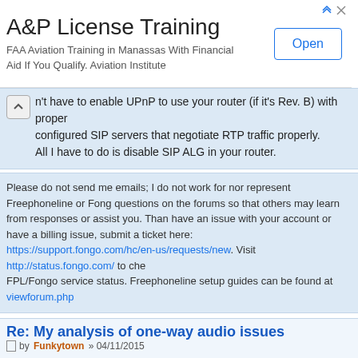[Figure (other): Advertisement banner for A&P License Training. Title: 'A&P License Training'. Subtitle: 'FAA Aviation Training in Manassas With Financial Aid If You Qualify. Aviation Institute'. An 'Open' button on the right.]
n't have to enable UPnP to use your router (if it's Rev. B) with properly configured SIP servers that negotiate RTP traffic properly. All I have to do is disable SIP ALG in your router.
Please do not send me emails; I do not work for nor represent Freephoneline or Fongo. Post questions on the forums so that others may learn from responses or assist you. Thanks! If you have an issue with your account or have a billing issue, submit a ticket here: https://support.fongo.com/hc/en-us/requests/new. Visit http://status.fongo.com/ to check FPL/Fongo service status. Freephoneline setup guides can be found at viewforum.php
Re: My analysis of one-way audio issues
by Funkytown » 04/11/2015
Oh your referring to my postbit info ?
Router: DLINK DIR-601 rev B1 ?

No actually i dont have this router anymore.

Thanks i will delete it out of my profile shortly.